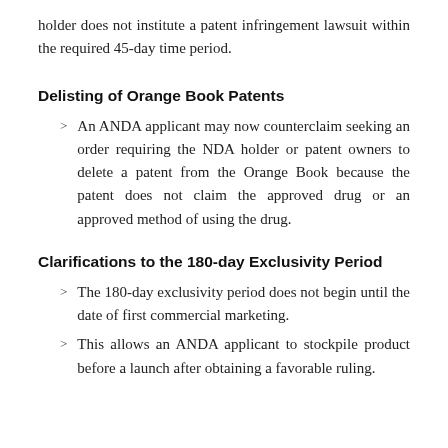holder does not institute a patent infringement lawsuit within the required 45-day time period.
Delisting of Orange Book Patents
An ANDA applicant may now counterclaim seeking an order requiring the NDA holder or patent owners to delete a patent from the Orange Book because the patent does not claim the approved drug or an approved method of using the drug.
Clarifications to the 180-day Exclusivity Period
The 180-day exclusivity period does not begin until the date of first commercial marketing.
This allows an ANDA applicant to stockpile product before a launch after obtaining a favorable ruling.